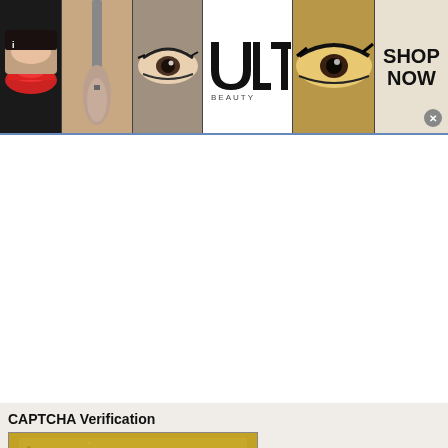[Figure (photo): Ulta Beauty advertisement banner showing makeup images (red lips, makeup brush, eye with eye makeup, Ulta Beauty logo, close-up eye, and SHOP NOW text with X close button)]
[Figure (screenshot): White empty content area placeholder below the ad banner]
CAPTCHA Verification
[Figure (photo): CAPTCHA image showing distorted letters 'U M K II v V' on a golden/yellow textured background]
[Figure (screenshot): Text input box for CAPTCHA entry]
Enter the 6 letters or numbers shown within the image above. Letters are not case sensitive. If you cannot read this one, click the image to request a new one.
[Figure (infographic): Nike advertisement showing 'Nike. Just Do It' with tagline 'Inspiring the world's athletes, Nike delivers the deals', URL www.nike.com, shoe image, circular blue arrow button, and X close button]